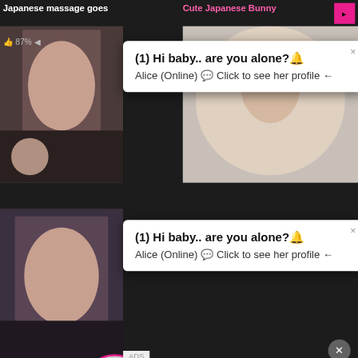Japanese massage goes
Cute Japanese Bunny
[Figure (screenshot): Adult video thumbnail top-left showing explicit content]
[Figure (screenshot): Adult video thumbnail top-right]
(1) Hi baby.. are you alone?🔔
Alice (Online) 💬 Click to see her profile ←
(1) Hi baby.. are you alone?🔔
Alice (Online) 💬 Click to see her profile ←
ADS
Jennifer_2000
(00:12)📱
LIVE
Old De
87%
82%
[Figure (screenshot): Adult video thumbnail bottom main showing explicit content]
WHAT DO YOU WANT?
WATCH
Online
[Figure (screenshot): Three small adult content thumbnails in advertisement]
Cumming, ass fucking, squirt or...
• ADS
(alison tyler) Cheating
BIG BOOBS MILK 2 GIRLS